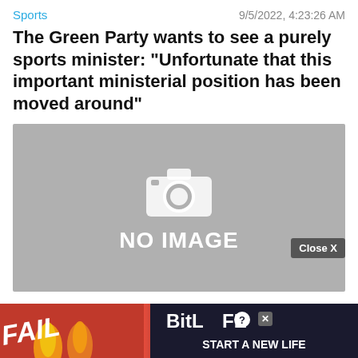Sports | 9/5/2022, 4:23:26 AM
The Green Party wants to see a purely sports minister: "Unfortunate that this important ministerial position has been moved around"
[Figure (photo): No image placeholder with camera icon and text 'NO IMAGE' on grey background]
Sports | 9/5/2022, 7:53:38 AM
Jeremy Lin officially joined the Guang...
[Figure (infographic): Advertisement banner: BitLife - Start A New Life, with FAIL text and cartoon character, flames, on red/dark background. Close X button overlay.]